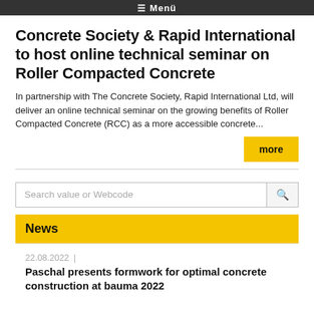≡ Menü
Concrete Society & Rapid International to host online technical seminar on Roller Compacted Concrete
In partnership with The Concrete Society, Rapid International Ltd, will deliver an online technical seminar on the growing benefits of Roller Compacted Concrete (RCC) as a more accessible concrete...
more
Search value or Webcode
News
22.08.2022 | Paschal presents formwork for optimal concrete construction at bauma 2022